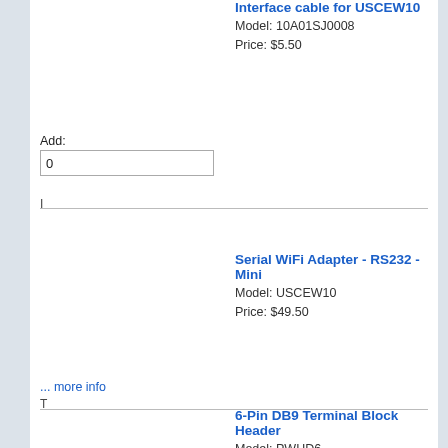Interface cable for USCEW10
Model: 10A01SJ0008
Price: $5.50
Add:
I
Serial WiFi Adapter - RS232 - Mini
Model: USCEW10
Price: $49.50
... more info
T
6-Pin DB9 Terminal Block Header
Model: PWHD6
Price: $4.50